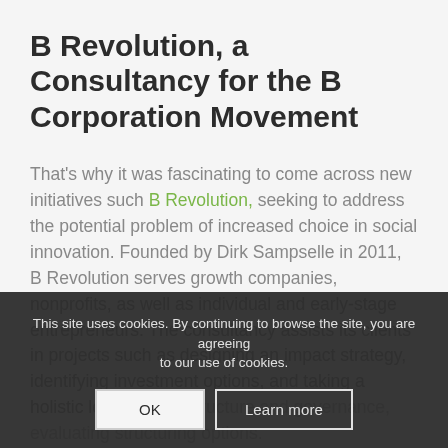B Revolution, a Consultancy for the B Corporation Movement
That's why it was fascinating to come across new initiatives such B Revolution, seeking to address the potential problem of increased choice in social innovation. Founded by Dirk Sampselle in 2011, B Revolution serves growth companies, nonprofits, as well as individual and early-stage entrepreneurs. The consultancy assists its clients in projects such as designing an impact strategy, identifying investment options, and taking a holistic look at legal structure and governance, evaluating structuring options.
This site uses cookies. By continuing to browse the site, you are agreeing to our use of cookies.